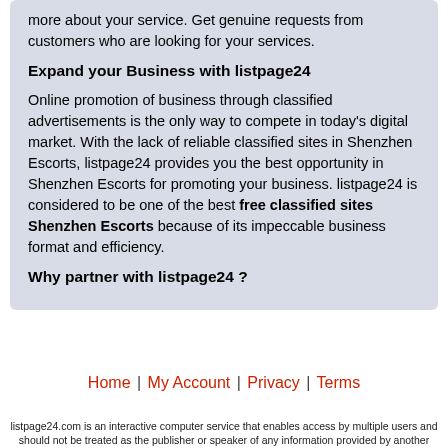more about your service. Get genuine requests from customers who are looking for your services.
Expand your Business with listpage24
Online promotion of business through classified advertisements is the only way to compete in today's digital market. With the lack of reliable classified sites in Shenzhen Escorts, listpage24 provides you the best opportunity in Shenzhen Escorts for promoting your business. listpage24 is considered to be one of the best free classified sites Shenzhen Escorts because of its impeccable business format and efficiency.
Why partner with listpage24 ?
Home | My Account | Privacy | Terms
listpage24.com is an interactive computer service that enables access by multiple users and should not be treated as the publisher or speaker of any information provided by another